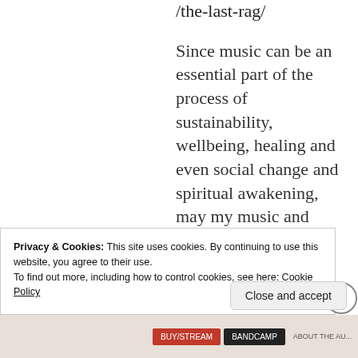/the-last-rag/
Since music can be an essential part of the process of sustainability, wellbeing, healing and even social change and spiritual awakening, may my music and poem in the said post bring you some creative "distr..."
Privacy & Cookies: This site uses cookies. By continuing to use this website, you agree to their use.
To find out more, including how to control cookies, see here: Cookie Policy
Close and accept